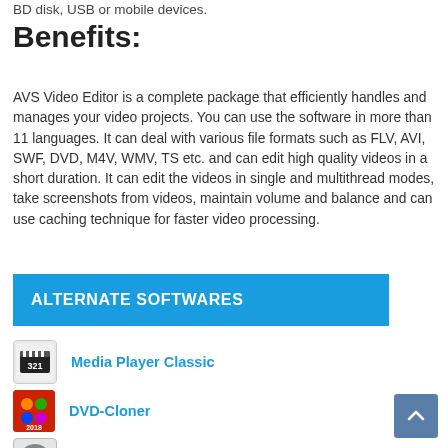BD disk, USB or mobile devices.
Benefits:
AVS Video Editor is a complete package that efficiently handles and manages your video projects. You can use the software in more than 11 languages. It can deal with various file formats such as FLV, AVI, SWF, DVD, M4V, WMV, TS etc. and can edit high quality videos in a short duration. It can edit the videos in single and multithread modes, take screenshots from videos, maintain volume and balance and can use caching technique for faster video processing.
ALTERNATE SOFTWARES
Media Player Classic
DVD-Cloner
WinX HD Video Converter Deluxe